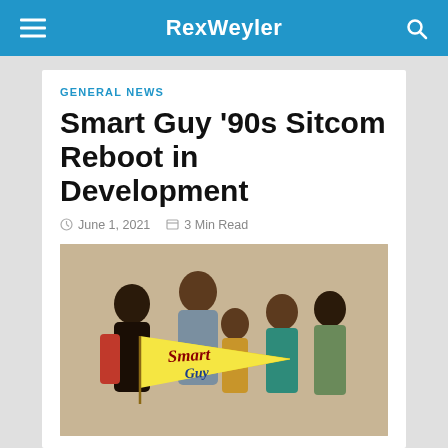RexWeyler
GENERAL NEWS
Smart Guy '90s Sitcom Reboot in Development
June 1, 2021  3 Min Read
[Figure (photo): Smart Guy TV show cast photo with Smart Guy logo on a yellow pennant. Five cast members posing together on a tan/beige background.]